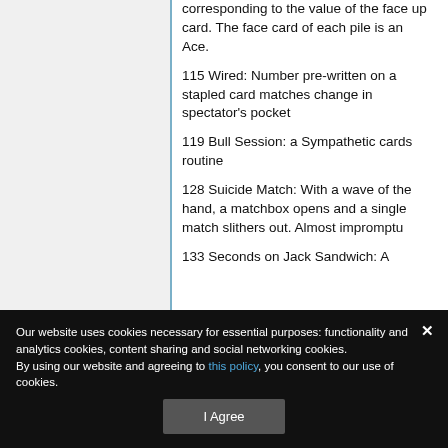dealt in front of each, the number corresponding to the value of the face up card. The face card of each pile is an Ace.
115 Wired: Number pre-written on a stapled card matches change in spectator's pocket
119 Bull Session: a Sympathetic cards routine
128 Suicide Match: With a wave of the hand, a matchbox opens and a single match slithers out. Almost impromptu
133 Seconds on Jack Sandwich: A
Our website uses cookies necessary for essential purposes: functionality and analytics cookies, content sharing and social networking cookies.
By using our website and agreeing to this policy, you consent to our use of cookies.
I Agree